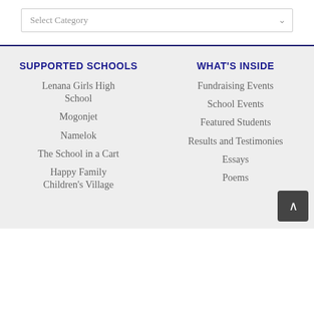Select Category
SUPPORTED SCHOOLS
Lenana Girls High School
Mogonjet
Namelok
The School in a Cart
Happy Family Children's Village
WHAT'S INSIDE
Fundraising Events
School Events
Featured Students
Results and Testimonies
Essays
Poems